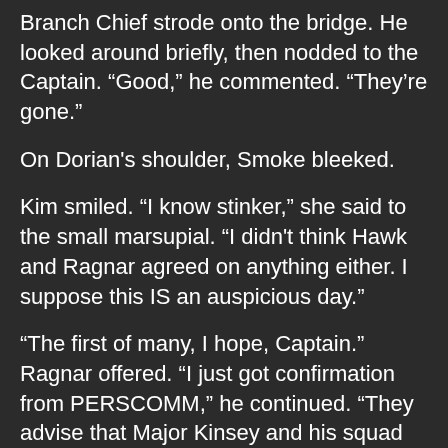Branch Chief strode onto the bridge. He looked around briefly, then nodded to the Captain. “Good,” he commented. “They’re gone.”
On Dorian's shoulder, Smoke bleeked.
Kim smiled. “I know stinker,” she said to the small marsupial. “I didn't think Hawk and Ragnar agreed on anything either. I suppose this IS an auspicious day.”
“The first of many, I hope, Captain.” Ragnar offered. “I just got confirmation from PERSCOMM,” he continued. “They advise that Major Kinsey and his squad have been delayed, but logistics is on it, and they should rendezvous with us by the time we get to S-B-Two.”
“Understood, Tac. I appreciate the notice. See to it that the Marine’s quarters are squared away please, Mr. Ragnar?” Despite the inflection in the Captain’s voice, any experienced officer knew that the sentence was anything